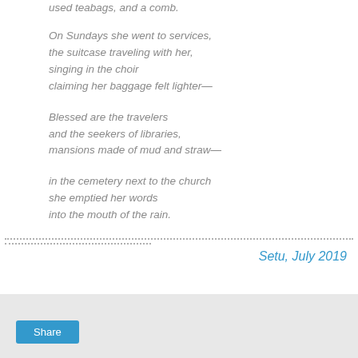used teabags, and a comb.
On Sundays she went to services,
the suitcase traveling with her,
singing in the choir
claiming her baggage felt lighter—
Blessed are the travelers
and the seekers of libraries,
mansions made of mud and straw—
in the cemetery next to the church
she emptied her words
into the mouth of the rain.
Setu, July 2019
[Figure (other): Gray footer area with a blue Share button]